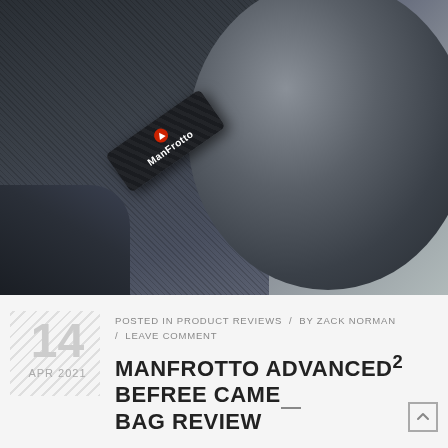[Figure (photo): Close-up photograph of a Manfrotto camera bag showing dark textured fabric, a Manfrotto branded tag/strap with red logo and white text, and a round dark lens element in the background.]
POSTED IN PRODUCT REVIEWS  /  BY ZACK NORMAN  /  LEAVE COMMENT
MANFROTTO ADVANCED² BEFREE CAMERA BAG REVIEW
14
APR 2021